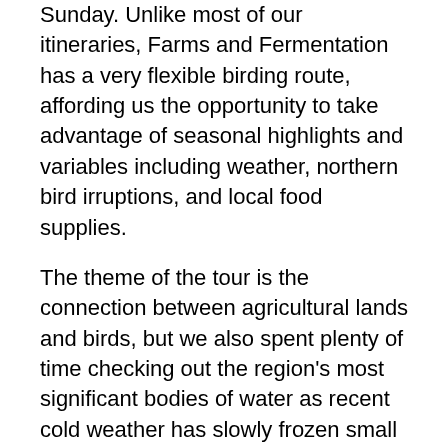Sunday. Unlike most of our itineraries, Farms and Fermentation has a very flexible birding route, affording us the opportunity to take advantage of seasonal highlights and variables including weather, northern bird irruptions, and local food supplies.
The theme of the tour is the connection between agricultural lands and birds, but we also spent plenty of time checking out the region's most significant bodies of water as recent cold weather has slowly frozen small ponds and lakes, pushing waterfowl to the open waters of the deep Lake Auburn and the fast-flowing Androscoggin River.
It was a frigid day, but with temperatures rapidly rising through the 20's and virtually no wind at most of our stops, we enjoyed a very pleasant and productive morning of birding. Our first stop was...